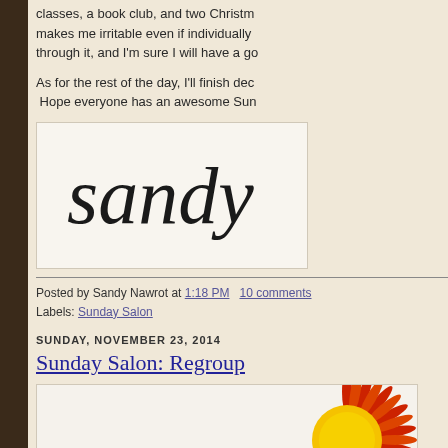classes, a book club, and two Christm... makes me irritable even if individually... through it, and I'm sure I will have a go...
As for the rest of the day, I'll finish dec... Hope everyone has an awesome Sun...
[Figure (illustration): Handwritten cursive signature reading 'Sandy' on a light background]
Posted by Sandy Nawrot at 1:18 PM   10 comments
Labels: Sunday Salon
SUNDAY, NOVEMBER 23, 2014
Sunday Salon: Regroup
[Figure (logo): The Sunday Salon logo with a stylized sun graphic and text 'The Sunday Salon']
count blessings, I will mention that the... days off, was back in action this week... and I missed them!